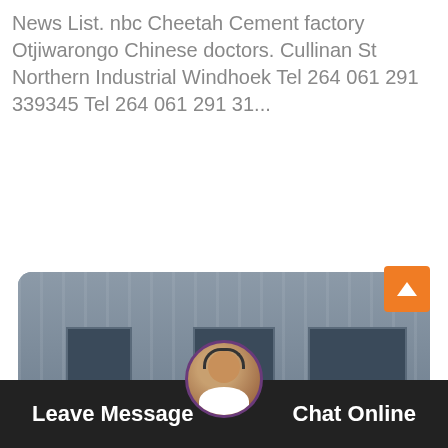News List. nbc Cheetah Cement factory Otjiwarongo Chinese doctors. Cullinan St Northern Industrial Windhoek Tel 264 061 291 339345 Tel 264 061 291 31...
[Figure (other): Orange 'Chat Online' button]
[Figure (photo): Industrial jaw crushers lined up in front of a grey corrugated metal factory building. Multiple large red and black flywheel machines with cream/beige bodies are visible, with Chinese text labels reading 中国著名品牌.]
[Figure (other): Bottom navigation bar with 'Leave Message' on left, female customer service avatar in center, 'Chat Online' on right, on dark background. Orange scroll-to-top button at right.]